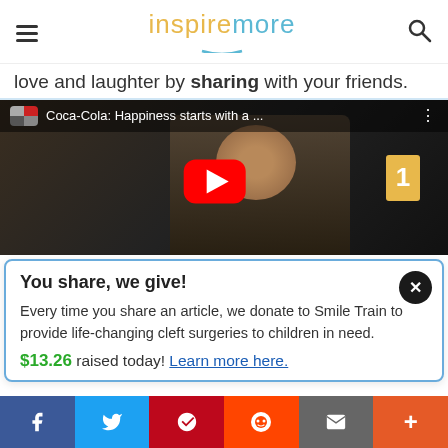inspiremore
love and laughter by sharing with your friends.
[Figure (screenshot): YouTube video embed thumbnail showing Coca-Cola: Happiness starts with a ... video with a man laughing and YouTube play button]
You share, we give! Every time you share an article, we donate to Smile Train to provide life-changing cleft surgeries to children in need. $13.26 raised today! Learn more here.
[Figure (infographic): Social share bar with Facebook, Twitter, Pinterest, Reddit, Email, and More buttons]